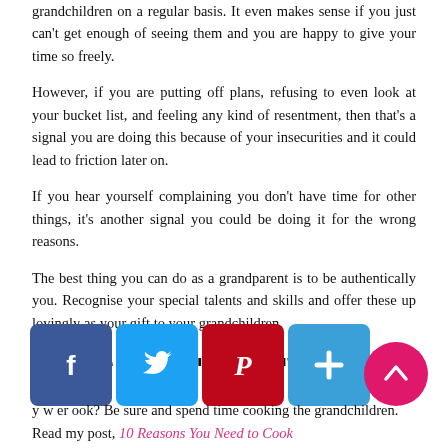grandchildren on a regular basis. It even makes sense if you just can't get enough of seeing them and you are happy to give your time so freely.
However, if you are putting off plans, refusing to even look at your bucket list, and feeling any kind of resentment, then that’s a signal you are doing this because of your insecurities and it could lead to friction later on.
If you hear yourself complaining you don’t have time for other things, it’s another signal you could be doing it for the wrong reasons.
The best thing you can do as a grandparent is to be authentically you. Recognise your special talents and skills and offer these up lovingly as your gift to your grandchildren.
GRAND INSECURITIES – OFFERING YOUR GIFTS
y w er ook? Be sure and spend time cooking the grandchildren. Read my post, 10 Reasons You Need to Cook